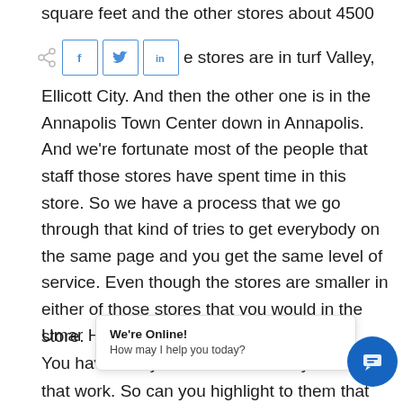square feet and the other stores about 4500
[Figure (other): Social share bar with share icon, Facebook, Twitter, and LinkedIn buttons]
e stores are in turf Valley, Ellicott City. And then the other one is in the Annapolis Town Center down in Annapolis. And we're fortunate most of the people that staff those stores have spent time in this store. So we have a process that we go through that kind of tries to get everybody on the same page and you get the same level of service. Even though the stores are smaller in either of those stores that you would in the store.
Umar Hameed 4
You have many m                                        a y
that work. So can you highlight to them that
[Figure (screenshot): Chat widget popup with 'We're Online! How may I help you today?' message and blue chat circle button]